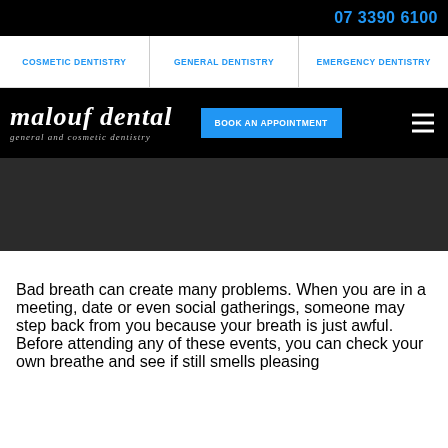07 3390 6100
COSMETIC DENTISTRY   GENERAL DENTISTRY   EMERGENCY DENTISTRY
[Figure (logo): Malouf Dental logo — general and cosmetic dentistry, with BOOK AN APPOINTMENT button and hamburger menu]
[Figure (photo): Dark hero image area (image content not visible)]
Bad breath can create many problems. When you are in a meeting, date or even social gatherings, someone may step back from you because your breath is just awful. Before attending any of these events, you can check your own breathe and see if still smells pleasing